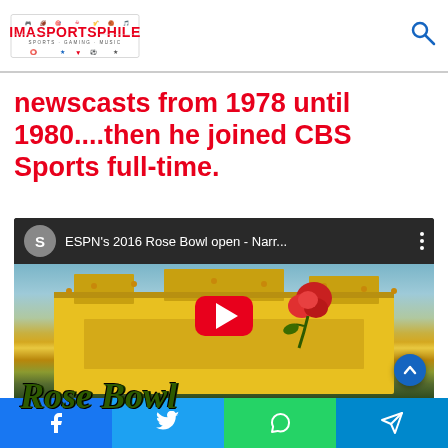IMASPORTSPHILE logo and search icon
newscasts from 1978 until 1980....then he joined CBS Sports full-time.
[Figure (screenshot): YouTube video thumbnail for ESPN's 2016 Rose Bowl open - Narr... with play button overlay and Rose Bowl text visible at bottom]
Facebook, Twitter, WhatsApp, Telegram share buttons